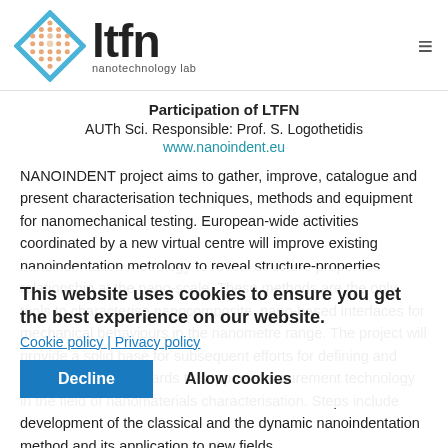[Figure (logo): LTFN Nanotechnology Lab logo — diamond/rhombus shape with orange dot pattern and blue border, beside bold text 'ltfn' and subtitle 'nanotechnology lab']
Participation of LTFN
AUTh Sci. Responsible: Prof. S. Logothetidis
www.nanoindent.eu
NANOINDENT project aims to gather, improve, catalogue and present characterisation techniques, methods and equipment for nanomechanical testing. European-wide activities coordinated by a new virtual centre will improve existing nanoindentation metrology to reveal structure-properties relationship at the nano-scale. These methods are the only tools to characterise nanocomposite, nano-based interfaces for mechanical behaviours in the nanometre range. The project will provide a solid base for subsequent efforts for defining and preparing new standards to support measurement technology in the field of nanomaterials characterisation. Steps include development of the classical and the dynamic nanoindentation method and its application to new fields,
This website uses cookies to ensure you get the best experience on our website.
Cookie policy | Privacy policy
Decline
Allow cookies